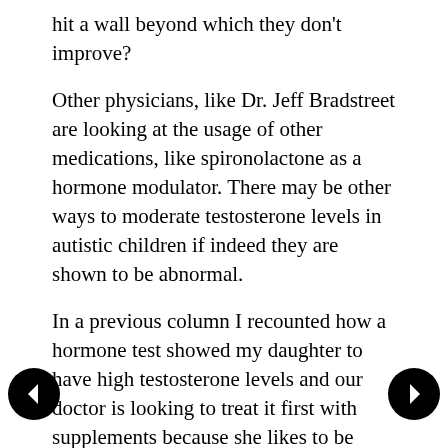hit a wall beyond which they don't improve?
Other physicians, like Dr. Jeff Bradstreet are looking at the usage of other medications, like spironolactone as a hormone modulator. There may be other ways to moderate testosterone levels in autistic children if indeed they are shown to be abnormal.
In a previous column I recounted how a hormone test showed my daughter to have high testosterone levels and our doctor is looking to treat it first with supplements because she likes to be conservative.
I am heartened by the claim of David Geier that this is something you can get any endocrinologist to test, and if the testosterone level comes back high, lupron is